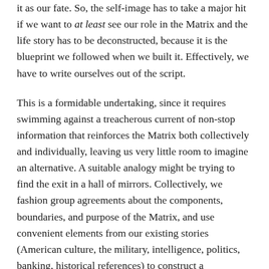it as our fate. So, the self-image has to take a major hit if we want to at least see our role in the Matrix and the life story has to be deconstructed, because it is the blueprint we followed when we built it. Effectively, we have to write ourselves out of the script.
This is a formidable undertaking, since it requires swimming against a treacherous current of non-stop information that reinforces the Matrix both collectively and individually, leaving us very little room to imagine an alternative. A suitable analogy might be trying to find the exit in a hall of mirrors. Collectively, we fashion group agreements about the components, boundaries, and purpose of the Matrix, and use convenient elements from our existing stories (American culture, the military, intelligence, politics, banking, historical references) to construct a convincing argument that it is something separate from us.
At the individual level The Matrix provides a sticky canvas on